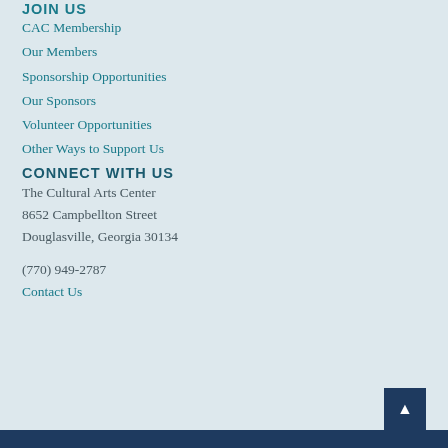JOIN US
CAC Membership
Our Members
Sponsorship Opportunities
Our Sponsors
Volunteer Opportunities
Other Ways to Support Us
CONNECT WITH US
The Cultural Arts Center
8652 Campbellton Street
Douglasville, Georgia 30134
(770) 949-2787
Contact Us